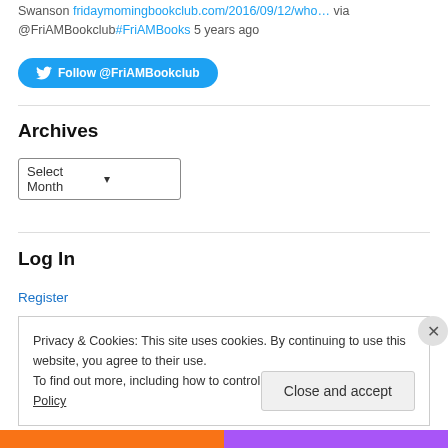Swanson fridaymomingbookclub.com/2016/09/12/who... via @FriAMBookclub#FriAMBooks 5 years ago
[Figure (other): Twitter Follow @FriAMBookclub button]
Archives
[Figure (other): Select Month dropdown]
Log In
Register
Privacy & Cookies: This site uses cookies. By continuing to use this website, you agree to their use.
To find out more, including how to control cookies, see here: Cookie Policy